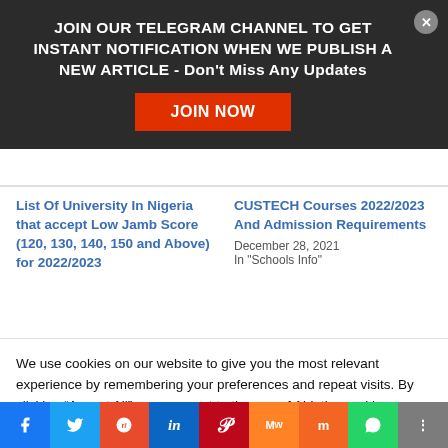JOIN OUR TELEGRAM CHANNEL TO GET INSTANT NOTIFICATION WHEN WE PUBLISH A NEW ARTICLE - Don't Miss Any Updates
JOIN NOW
List Of University In Nigeria that accept Low Jamb Score (120, 130, 140, 150 and Above) for 2022/2023
CUSTECH Courses 2022/2023 And Admission Requirements
December 28, 2021
In "Schools Info"
We use cookies on our website to give you the most relevant experience by remembering your preferences and repeat visits. By clicking “Accept All”, you consent to the use of ALL the cookies. However, you may visit "Cookie Settings" to provide a controlled consent.
Cookie Settings
Accept All